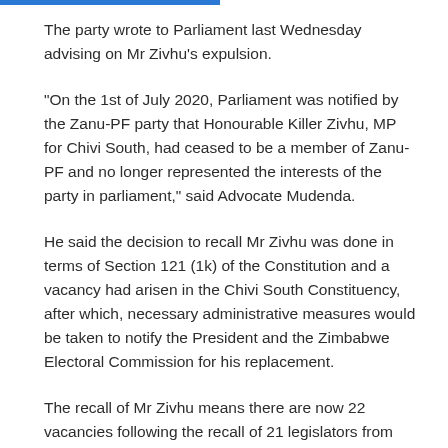The party wrote to Parliament last Wednesday advising on Mr Zivhu's expulsion.
“On the 1st of July 2020, Parliament was notified by the Zanu-PF party that Honourable Killer Zivhu, MP for Chivi South, had ceased to be a member of Zanu-PF and no longer represented the interests of the party in parliament,” said Advocate Mudenda.
He said the decision to recall Mr Zivhu was done in terms of Section 121 (1k) of the Constitution and a vacancy had arisen in the Chivi South Constituency, after which, necessary administrative measures would be taken to notify the President and the Zimbabwe Electoral Commission for his replacement.
The recall of Mr Zivhu means there are now 22 vacancies following the recall of 21 legislators from